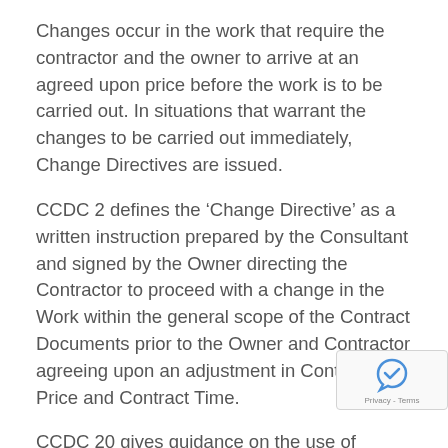Changes occur in the work that require the contractor and the owner to arrive at an agreed upon price before the work is to be carried out. In situations that warrant the changes to be carried out immediately, Change Directives are issued.
CCDC 2 defines the ‘Change Directive’ as a written instruction prepared by the Consultant and signed by the Owner directing the Contractor to proceed with a change in the Work within the general scope of the Contract Documents prior to the Owner and Contractor agreeing upon an adjustment in Contract Price and Contract Time.
CCDC 20 gives guidance on the use of Change Directives:
When the Owner requires a change in the Wo…